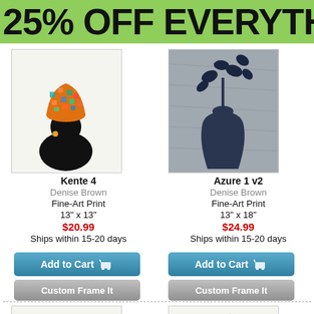25% OFF EVERYTH
[Figure (illustration): Silhouette of a person with colorful orange and teal Kente headwrap on white background]
Kente 4
Denise Brown
Fine-Art Print
13" x 13"
$20.99
Ships within 15-20 days
[Figure (illustration): Dark blue vase with orchid flowers on gray textured background]
Azure 1 v2
Denise Brown
Fine-Art Print
13" x 18"
$24.99
Ships within 15-20 days
[Figure (illustration): Bottom left product thumbnail partially visible]
[Figure (illustration): Bottom right product thumbnail partially visible]